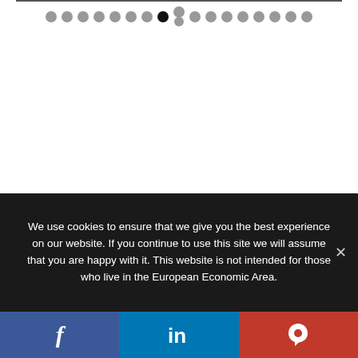[Figure (other): Navigation dots row at top of page with one active (black) dot and one stacked dot pair, rest are gray]
We use cookies to ensure that we give you the best experience on our website. If you continue to use this site we will assume that you are happy with it. This website is not intended for those who live in the European Economic Area.
[Figure (other): Social share bar with Facebook (blue), LinkedIn (blue), and Parler (red) buttons at bottom of page]